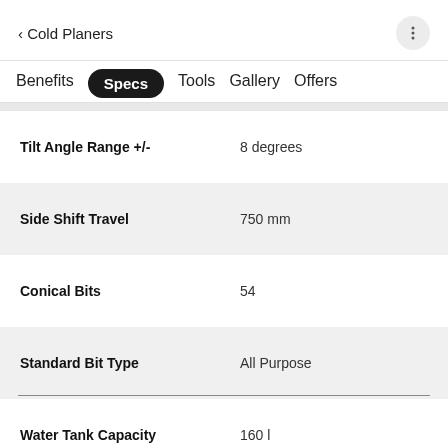< Cold Planers
Benefits  Specs  Tools  Gallery  Offers
| Specification | Value |
| --- | --- |
| Tilt Angle Range +/- | 8 degrees |
| Side Shift Travel | 750 mm |
| Conical Bits | 54 |
| Standard Bit Type | All Purpose |
| Water Tank Capacity | 160 l |